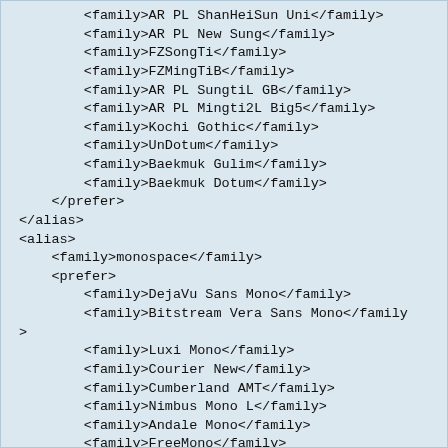<family>AR PL ShanHeiSun Uni</family>
        <family>AR PL New Sung</family>
        <family>FZSongTi</family>
        <family>FZMingTiB</family>
        <family>AR PL SungtiL GB</family>
        <family>AR PL Mingti2L Big5</family>
        <family>Kochi Gothic</family>
        <family>UnDotum</family>
        <family>Baekmuk Gulim</family>
        <family>Baekmuk Dotum</family>
    </prefer>
</alias>
<alias>
    <family>monospace</family>
    <prefer>
        <family>DejaVu Sans Mono</family>
        <family>Bitstream Vera Sans Mono</family>
        <family>Luxi Mono</family>
        <family>Courier New</family>
        <family>Cumberland AMT</family>
        <family>Nimbus Mono L</family>
        <family>Andale Mono</family>
        <family>FreeMono</family>
        <family>NSimSun</family>